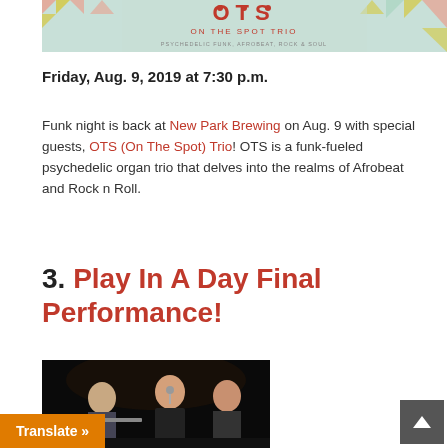[Figure (illustration): On The Spot Trio banner with colorful geometric triangle pattern and text: OTS ON THE SPOT TRIO — PSYCHEDELIC FUNK, AFROBEAT, ROCK & SOUL]
Friday, Aug. 9, 2019 at 7:30 p.m.
Funk night is back at New Park Brewing on Aug. 9 with special guests, OTS (On The Spot) Trio! OTS is a funk-fueled psychedelic organ trio that delves into the realms of Afrobeat and Rock n Roll.
3. Play In A Day Final Performance!
[Figure (photo): Photo of three people on stage performing; woman in foreground with microphone, man with beard seated at left, another woman at right, dark stage background]